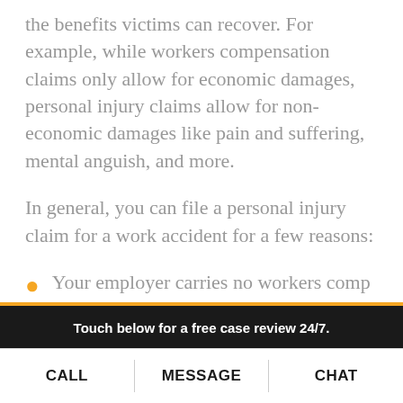the benefits victims can recover. For example, while workers compensation claims only allow for economic damages, personal injury claims allow for non-economic damages like pain and suffering, mental anguish, and more.
In general, you can file a personal injury claim for a work accident for a few reasons:
Your employer carries no workers comp insurance.
Touch below for a free case review 24/7.
CALL | MESSAGE | CHAT